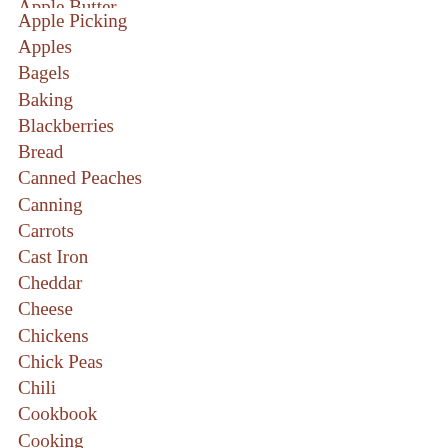Apple Butter (clipped)
Apple Picking
Apples
Bagels
Baking
Blackberries
Bread
Canned Peaches
Canning
Carrots
Cast Iron
Cheddar
Cheese
Chickens
Chick Peas
Chili
Cookbook
Cooking
Cucumber
Currants (clipped)